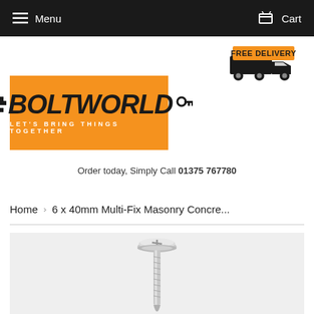Menu   Cart
[Figure (logo): Free Delivery badge with truck icon and orange FREE DELIVERY text]
[Figure (logo): Boltworld logo - orange background with bolt icon, BOLTWORLD text in black italic, tagline LET'S BRING THINGS TOGETHER in white]
Order today, Simply Call 01375 767780
Home › 6 x 40mm Multi-Fix Masonry Concre...
[Figure (photo): Close-up photo of a silver/chrome masonry concrete screw (multi-fix type) showing the head and shaft against a light grey background]